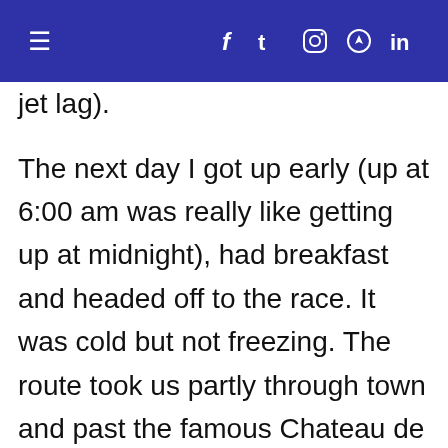≡  f  t  [instagram]  [pinterest]  in
jet lag).
The next day I got up early (up at 6:00 am was really like getting up at midnight), had breakfast and headed off to the race. It was cold but not freezing. The route took us partly through town and past the famous Chateau de Rambouillet. There was a wooded area that was nice and at the end besides cakes, fruit and granola bars, we were given hot chocolate which was greatly appreciated! Later that day, after having showered and rested, I headed back into town to explore. Sadly the Chateau wasn't open and I was